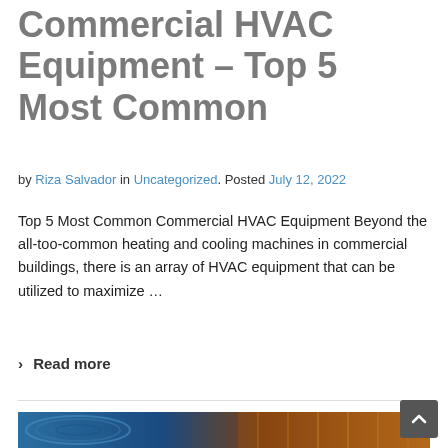Commercial HVAC Equipment – Top 5 Most Common
by Riza Salvador in Uncategorized. Posted July 12, 2022
Top 5 Most Common Commercial HVAC Equipment Beyond the all-too-common heating and cooling machines in commercial buildings, there is an array of HVAC equipment that can be utilized to maximize …
> Read more
[Figure (photo): Partial view of industrial HVAC equipment with blue and orange metal components]